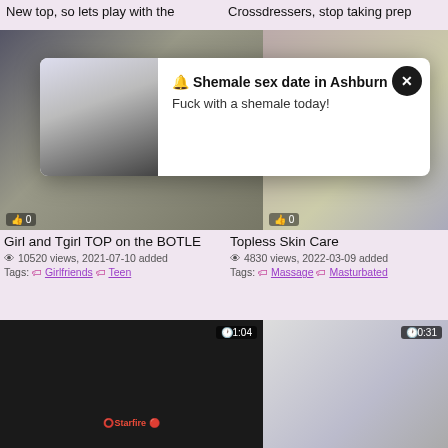New top, so lets play with the
Crossdressers, stop taking prep
[Figure (photo): Video thumbnail: girl and tgirl adult content, with like count badge showing 0]
[Figure (photo): Video thumbnail: topless skin care adult content, with like count badge showing 0]
[Figure (screenshot): Popup ad: Shemale sex date in Ashburn - Fuck with a shemale today! with close button]
Girl and Tgirl TOP on the BOTLE
10520 views, 2021-07-10 added
Tags: Girlfriends Teen
Topless Skin Care
4830 views, 2022-03-09 added
Tags: Massage Masturbated
[Figure (photo): Video thumbnail with timer 1:04, adult content female performer]
[Figure (photo): Video thumbnail with timer 0:31, adult content]